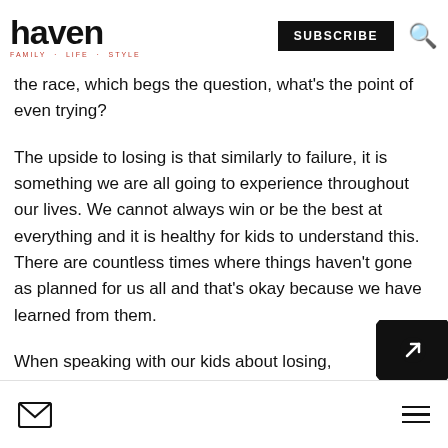haven FAMILY · LIFE · STYLE
the race, which begs the question, what's the point of even trying?
The upside to losing is that similarly to failure, it is something we are all going to experience throughout our lives. We cannot always win or be the best at everything and it is healthy for kids to understand this. There are countless times where things haven't gone as planned for us all and that's okay because we have learned from them.
When speaking with our kids about losing,